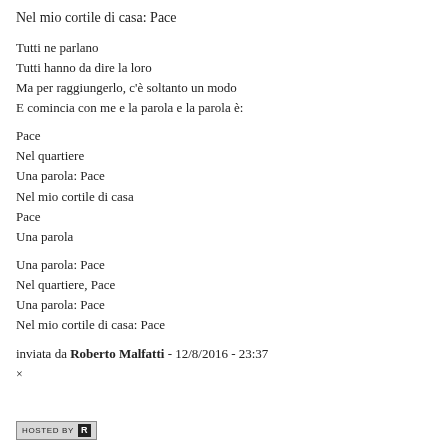Nel mio cortile di casa: Pace
Tutti ne parlano
Tutti hanno da dire la loro
Ma per raggiungerlo, c'è soltanto un modo
E comincia con me e la parola e la parola è:
Pace
Nel quartiere
Una parola: Pace
Nel mio cortile di casa
Pace
Una parola
Una parola: Pace
Nel quartiere, Pace
Una parola: Pace
Nel mio cortile di casa: Pace
inviata da Roberto Malfatti - 12/8/2016 - 23:37
×
HOSTED BY R